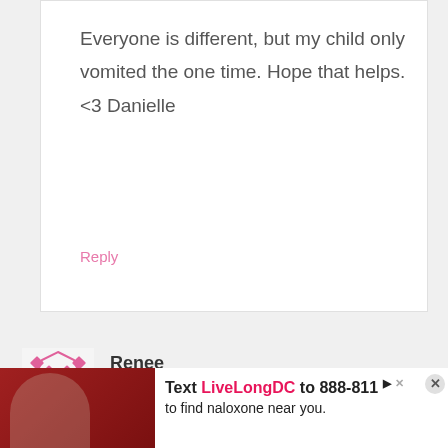Everyone is different, but my child only vomited the one time. Hope that helps. <3 Danielle
Reply
Renee
September 3, 2018 at 5:13 am
[Figure (illustration): Pink mosaic/geometric avatar icon for user Renee]
[Figure (photo): Ad banner: Text LiveLongDC to 888-811 to find naloxone near you. Shows a person's image on the left.]